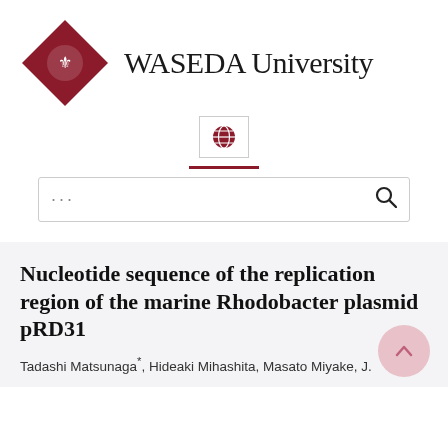[Figure (logo): Waseda University logo: red diamond shape with crest and 'WASEDA University' text in serif font]
[Figure (logo): Small globe icon inside a bordered box]
[Figure (other): Dark red horizontal divider line]
[Figure (screenshot): Search bar with ellipsis placeholder and magnifying glass icon]
Nucleotide sequence of the replication region of the marine Rhodobacter plasmid pRD31
Tadashi Matsunaga*, Hideaki Mihashita, Masato Miyake, J.